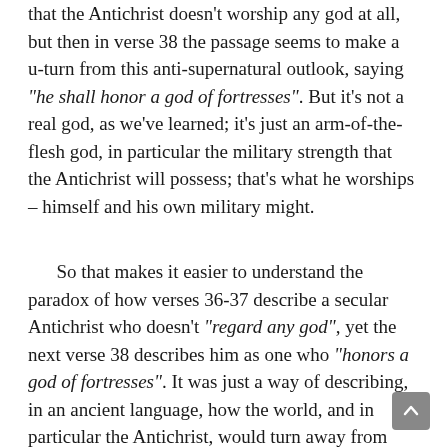that the Antichrist doesn't worship any god at all, but then in verse 38 the passage seems to make a u-turn from this anti-supernatural outlook, saying "he shall honor a god of fortresses". But it's not a real god, as we've learned; it's just an arm-of-the-flesh god, in particular the military strength that the Antichrist will possess; that's what he worships – himself and his own military might.
So that makes it easier to understand the paradox of how verses 36-37 describe a secular Antichrist who doesn't "regard any god", yet the next verse 38 describes him as one who "honors a god of fortresses". It was just a way of describing, in an ancient language, how the world, and in particular the Antichrist, would turn away from "religion" of any kind and instead fall into the worship of self, of the state, the world of humanity – a "brave new world" without God.